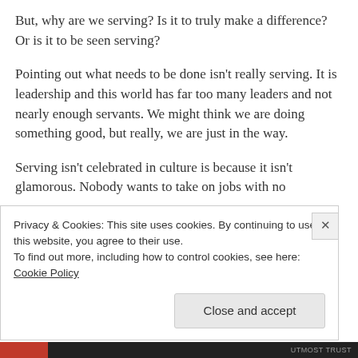But, why are we serving? Is it to truly make a difference? Or is it to be seen serving?
Pointing out what needs to be done isn’t really serving. It is leadership and this world has far too many leaders and not nearly enough servants. We might think we are doing something good, but really, we are just in the way.
Serving isn’t celebrated in culture is because it isn’t glamorous. Nobody wants to take on jobs with no
Privacy & Cookies: This site uses cookies. By continuing to use this website, you agree to their use.
To find out more, including how to control cookies, see here: Cookie Policy